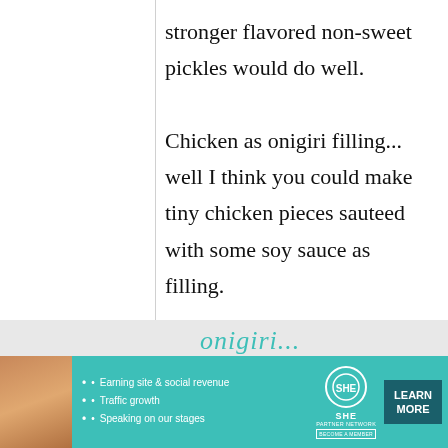stronger flavored non-sweet pickles would do well. Chicken as onigiri filling... well I think you could make tiny chicken pieces sauteed with some soy sauce as filling.
Kyo
[Figure (screenshot): Advertisement banner for SHE Partner Network with teal background, woman photo, bullet points about earning site & social revenue, traffic growth, speaking on stages, SHE logo, and LEARN MORE button]